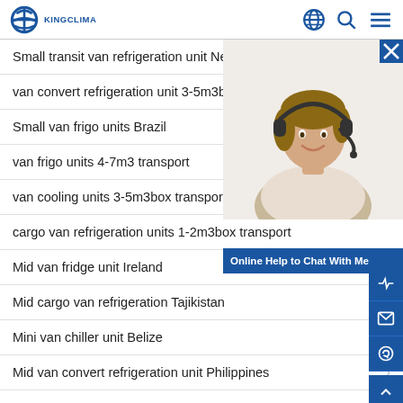KingClima logo header with globe, search, and menu icons
Small transit van refrigeration unit Netherlan
van convert refrigeration unit 3-5m3box froz
Small van frigo units Brazil
van frigo units 4-7m3 transport
van cooling units 3-5m3box transport
cargo van refrigeration units 1-2m3box transport
Mid van fridge unit Ireland
Mid cargo van refrigeration Tajikistan
Mini van chiller unit Belize
Mid van convert refrigeration unit Philippines
[Figure (photo): Customer service representative woman with headset smiling, with online chat widget overlay saying 'Online Help to Chat With Me']